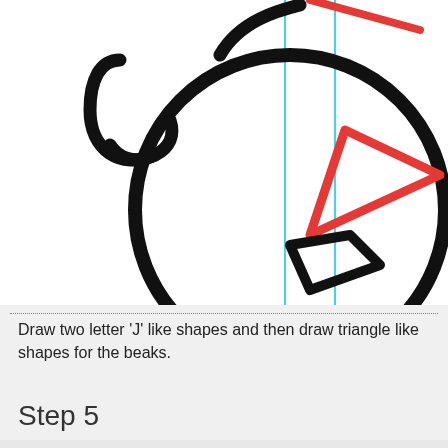[Figure (illustration): A step-by-step drawing of a bird head. Shows a large black circle (head) with a black spiral/loop ear shape on the left, two cyan vertical guide lines in the center, a red diagonal line crossing from upper right, and a red triangle-like beak shape in the center of the face. A black diamond/lower beak shape is below the red beak.]
Draw two letter 'J' like shapes and then draw triangle like shapes for the beaks.
Step 5